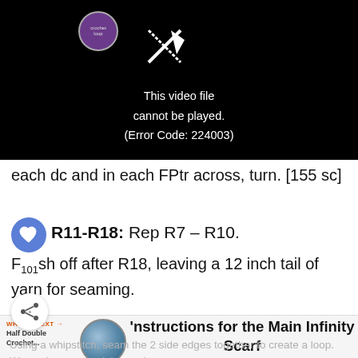[Figure (screenshot): Black video player showing error: 'This video file cannot be played. (Error Code: 224003)' with a circular logo and play icon]
each dc and in each FPtr across, turn. [155 sc]
R11-R18: Rep R7 – R10.
Finish off after R18, leaving a 12 inch tail of yarn for seaming.
Instructions for the Main Infinity Scarf
Using a whipstitch, seam the 2 side edges together to create a loop. Weave in any remaining ends.